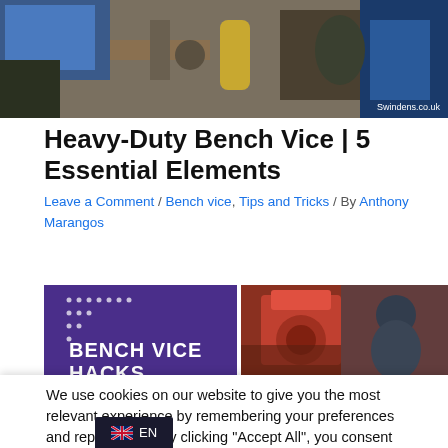[Figure (photo): Workshop scene with tools, blue bins, yellow pipe/equipment on workbench; watermark 'Swindens.co.uk' in bottom right]
Heavy-Duty Bench Vice | 5 Essential Elements
Leave a Comment / Bench vice, Tips and Tricks / By Anthony Marangos
[Figure (photo): Purple banner with white dots pattern and text 'BENCH VICE HACKS']
[Figure (photo): Photo of a person in a red workshop/industrial environment]
We use cookies on our website to give you the most relevant experience by remembering your preferences and repeat visits. By clicking "Accept All", you consent to the use of ALL the cookies. However, you may visit "Cookie Settings" to provide a controlled consent.
Cookie Settings    Accept All
EN